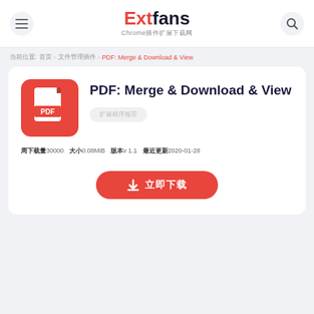Extfans Chrome插件扩展下载网
当前位置: 首页 › 文件管理插件 › PDF: Merge & Download & View
PDF: Merge & Download & View
扩展程序推荐
周下载量30000  大小0.08MiB  版本v 1.1  最近更新2020-01-28
↓ 立即下载